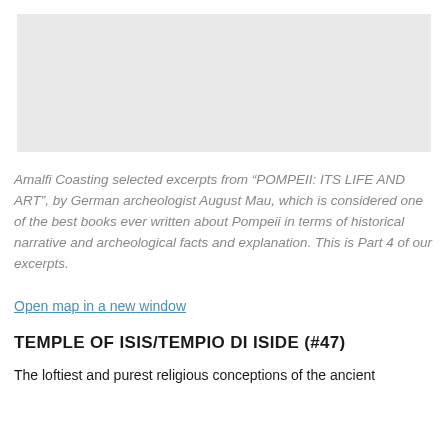[Figure (photo): Gray placeholder image area representing a photograph]
Amalfi Coasting selected excerpts from “POMPEII: ITS LIFE AND ART”, by German archeologist August Mau, which is considered one of the best books ever written about Pompeii in terms of historical narrative and archeological facts and explanation. This is Part 4 of our excerpts.
Open map in a new window
TEMPLE OF ISIS/TEMPIO DI ISIDE (#47)
The loftiest and purest religious conceptions of the ancient